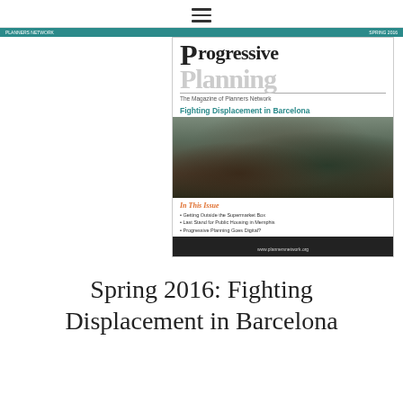≡
[Figure (screenshot): Cover of Progressive Planning magazine, Spring 2016 issue. Features the title 'Progressive Planning: The Magazine of Planners Network', headline 'Fighting Displacement in Barcelona', a photograph of a crowded community meeting room with people seated in a circle, section 'In This Issue' listing: Getting Outside the Supermarket Box, Last Stand for Public Housing in Memphis, Progressive Planning Goes Digital?, and footer with www.plannersnetwork.org]
Spring 2016: Fighting Displacement in Barcelona